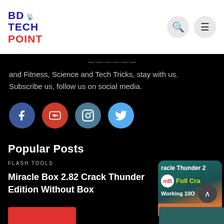BD TECH POINT
and Fitness, Science and Tech Tricks, stay with us. Subscribe us, follow us on social media.
[Figure (illustration): Social media icons: Facebook, YouTube, Instagram, Twitter]
Popular Posts
FLASH TOOLS
Miracle Box 2.82 Crack Thunder Edition Without Box
[Figure (screenshot): Miracle Box 2.82 crack thunder edition thumbnail showing Full Crack Working 100]